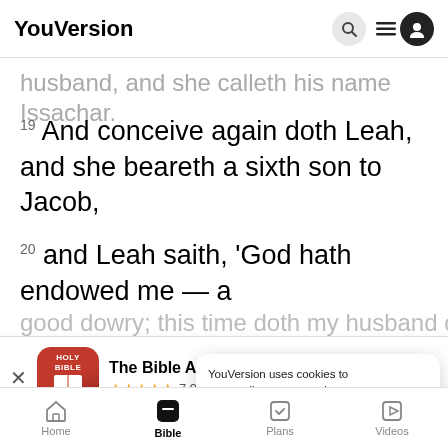YouVersion
husband, and she calleth his name Issachar.
19 And conceive again doth Leah, and she beareth a sixth son to Jacob,
20 and Leah saith, 'God hath endowed me — a good dowry; this time doth my husband dwell with
[Figure (screenshot): The Bible App banner with Holy Bible icon, 5 star rating 7.9M reviews, and Download button]
YouVersion uses cookies to personalize your experience. By using our website, you accept our use of cookies as described in our Privacy Policy.
21 an
calleth
Home Bible Plans Videos